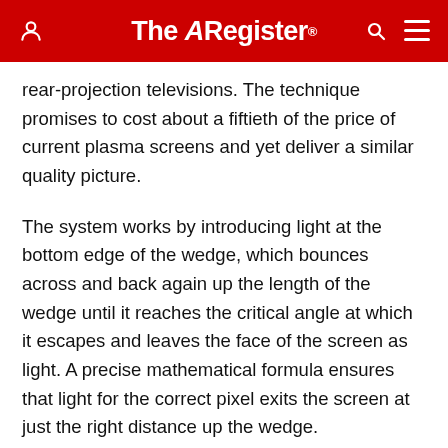The Register
rear-projection televisions. The technique promises to cost about a fiftieth of the price of current plasma screens and yet deliver a similar quality picture.
The system works by introducing light at the bottom edge of the wedge, which bounces across and back again up the length of the wedge until it reaches the critical angle at which it escapes and leaves the face of the screen as light. A precise mathematical formula ensures that light for the correct pixel exits the screen at just the right distance up the wedge.
Dr Adrian Travis of Flat Projection Displays, a spin-off from Cambridge University's Department of Engineering, is negotiating for the concept to emerge